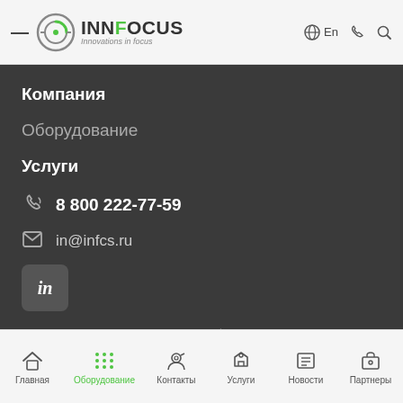InnFocus — Innovations in focus | En
Компания
Оборудование
Услуги
8 800 222-77-59
in@infcs.ru
[Figure (logo): LinkedIn icon button]
© 2022 Все права защищены.   Политика конфиденциальности
ООО "ИННФОКУС"
Нас ищут: инфокус (infocus)
Главная  Оборудование  Контакты  Услуги  Новости  Партнеры